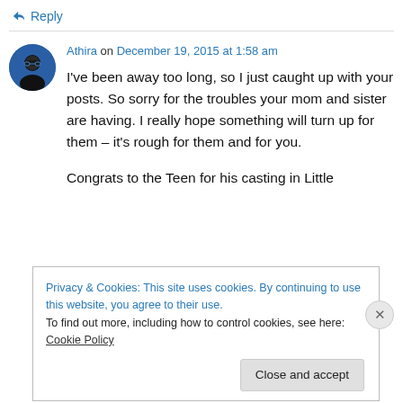↳ Reply
Athira on December 19, 2015 at 1:58 am
I've been away too long, so I just caught up with your posts. So sorry for the troubles your mom and sister are having. I really hope something will turn up for them – it's rough for them and for you.
Congrats to the Teen for his casting in Little
Privacy & Cookies: This site uses cookies. By continuing to use this website, you agree to their use.
To find out more, including how to control cookies, see here: Cookie Policy
Close and accept